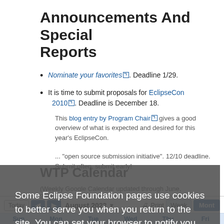Announcements And Special Reports
Nominate your favorites. Deadline 1/29.
It is time to submit proposals for EclipseCon 2010. Deadline is December 18.
This blog entry by Program Chair gives a good overview of what is expected and desired for this year's EclipseCon.
Some Eclipse Foundation pages use cookies to better serve you when you return to the site. You can set your browser to notify you before you receive a cookie or turn off cookies. If you do so, however, some areas of some sites may not function properly. To read Eclipse Foundation Privacy Policy click here.
WTP Calendar
(Weekly Google Calendar updated through June, 2010)
[Figure (screenshot): Cookie consent overlay with Decline and Allow cookies buttons]
[Figure (screenshot): Google Calendar navigation bar showing August 2022, Today button, prev/next arrows, Print, Week and Month view options, and day headers Sun Mon Tue Wed Thu Fri]